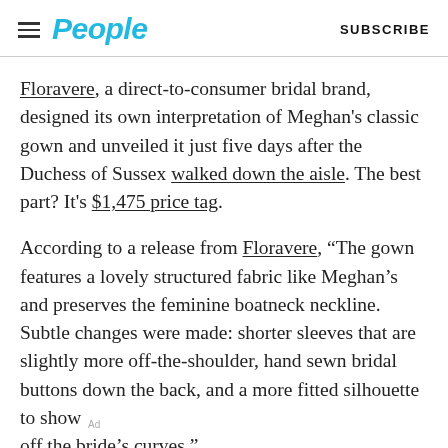People | SUBSCRIBE
Floravere, a direct-to-consumer bridal brand, designed its own interpretation of Meghan's classic gown and unveiled it just five days after the Duchess of Sussex walked down the aisle. The best part? It's $1,475 price tag.
According to a release from Floravere, “The gown features a lovely structured fabric like Meghan’s and preserves the feminine boatneck neckline. Subtle changes were made: shorter sleeves that are slightly more off-the-shoulder, hand sewn bridal buttons down the back, and a more fitted silhouette to show off the bride’s curves.”